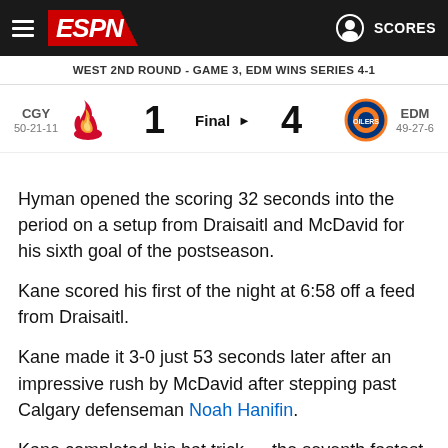ESPN - WEST 2ND ROUND - GAME 3, EDM WINS SERIES 4-1
| Team | Score |  | Score | Team |
| --- | --- | --- | --- | --- |
| CGY 50-21-11 | 1 | Final | 4 | EDM 49-27-6 |
Hyman opened the scoring 32 seconds into the period on a setup from Draisaitl and McDavid for his sixth goal of the postseason.
Kane scored his first of the night at 6:58 off a feed from Draisaitl.
Kane made it 3-0 just 53 seconds later after an impressive rush by McDavid after stepping past Calgary defenseman Noah Hanifin.
Kane completed his hat trick — the seventh fastest in NHL